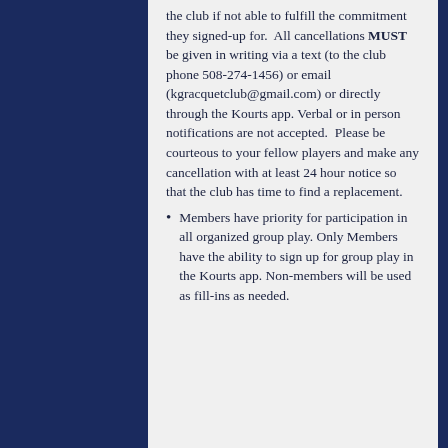the club if not able to fulfill the commitment they signed-up for.  All cancellations MUST be given in writing via a text (to the club phone 508-274-1456) or email (kgracquetclub@gmail.com) or directly through the Kourts app. Verbal or in person notifications are not accepted.  Please be courteous to your fellow players and make any cancellation with at least 24 hour notice so that the club has time to find a replacement.
Members have priority for participation in all organized group play. Only Members have the ability to sign up for group play in the Kourts app. Non-members will be used as fill-ins as needed.